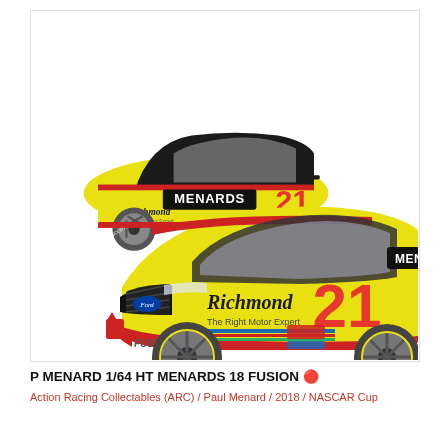[Figure (photo): Product photo of two yellow NASCAR die-cast model cars (#21 Paul Menard Menards/Richmond Ford Fusion), shown from rear-left angle (smaller, background) and front-right angle (larger, foreground). Cars are bright yellow with red and black accents, Menards and Richmond sponsor logos, number 21 in red.]
P MENARD 1/64 HT MENARDS 18 FUSION 🔴
Action Racing Collectables (ARC) / Paul Menard / 2018 / NASCAR Cup